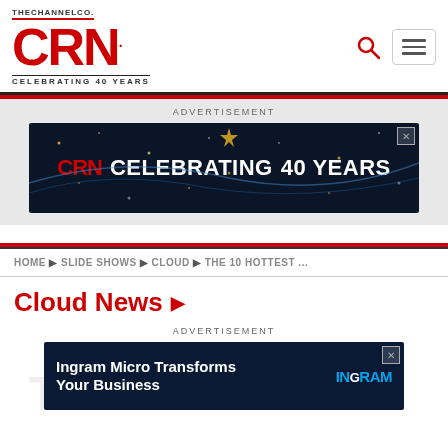[Figure (logo): CRN logo with THE CHANNEL CO. above and CELEBRATING 40 YEARS below]
[Figure (screenshot): Search icon (magnifying glass) in red]
[Figure (screenshot): Hamburger menu button]
ADVERTISEMENT
[Figure (illustration): CRN Celebrating 40 Years advertisement banner on dark blue background with sparkles]
HOME ▶ SLIDE SHOWS ▶ CLOUD ▶ THE 10 HOTTEST ...
Cloud News ▶
ADVERTISEMENT
[Figure (illustration): Ingram Micro Transforms Your Business advertisement banner on dark blue background with Ingram Micro logo]